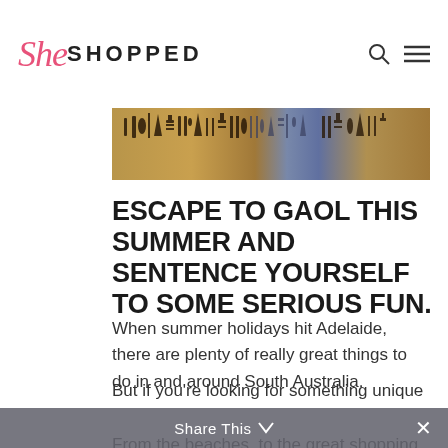she SHOPPED
[Figure (photo): Decorative banner image showing Egyptian hieroglyphic-style artwork with tools and symbols in warm ochre, blue and brown tones]
ESCAPE TO GAOL THIS SUMMER AND SENTENCE YOURSELF TO SOME SERIOUS FUN.
When summer holidays hit Adelaide, there are plenty of really great things to do in and around South Australia.
From the beaches, to the great shopping destinations, to all the rich history our state has to offer, there is stacks to see and do.
But if you're looking for something unique for you
Share This ∨  ×